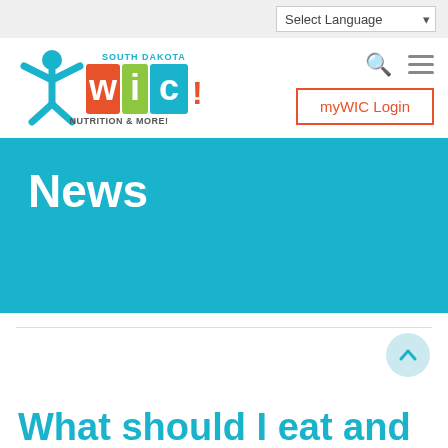Select Language
[Figure (logo): South Dakota WIC – Nutrition & More logo with stylized person in teal and WIC letters in orange, green, and teal]
myWIC Login
News
What should I eat and